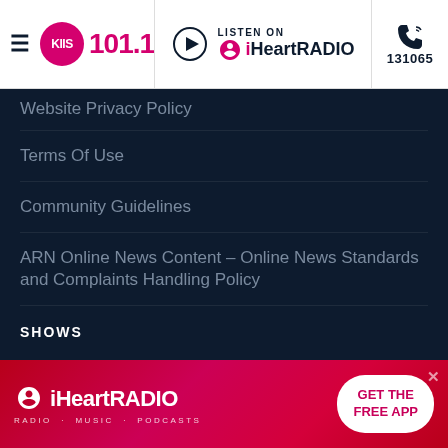KIIS 101.1 | Listen on iHeartRADIO | 131065
Website Privacy Policy
Terms Of Use
Community Guidelines
ARN Online News Content – Online News Standards and Complaints Handling Policy
SHOWS
Jase & Lauren
Will & Woody
Kyle & Jackie O – Hour Of Power
[Figure (screenshot): iHeartRADIO advertisement banner with 'GET THE FREE APP' button]